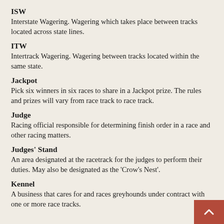ISW
Interstate Wagering. Wagering which takes place between tracks located across state lines.
ITW
Intertrack Wagering. Wagering between tracks located within the same state.
Jackpot
Pick six winners in six races to share in a Jackpot prize. The rules and prizes will vary from race track to race track.
Judge
Racing official responsible for determining finish order in a race and other racing matters.
Judges' Stand
An area designated at the racetrack for the judges to perform their duties. May also be designated as the 'Crow's Nest'.
Kennel
A business that cares for and races greyhounds under contract with one or more race tracks.